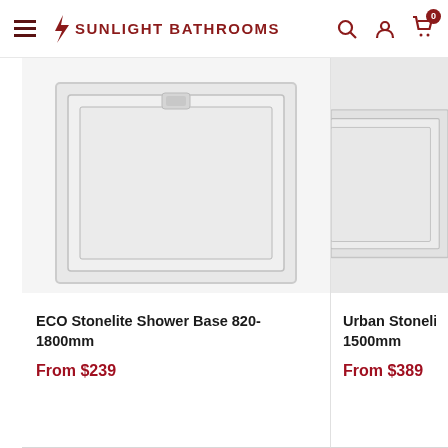Sunlight Bathrooms
[Figure (photo): ECO Stonelite Shower Base product image – white rectangular shower tray viewed from above]
ECO Stonelite Shower Base 820-1800mm
From $239
[Figure (photo): Urban Stonelite Shower Base product image – white/light grey rectangular shower tray, partially cropped]
Urban Stonelite Shower Base [partially visible] 1500mm
From $389